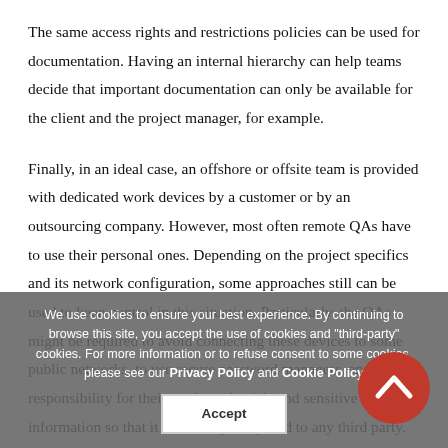The same access rights and restrictions policies can be used for documentation. Having an internal hierarchy can help teams decide that important documentation can only be available for the client and the project manager, for example.
Finally, in an ideal case, an offshore or offsite team is provided with dedicated work devices by a customer or by an outsourcing company. However, most often remote QAs have to use their personal ones. Depending on the project specifics and its network configuration, some approaches still can be used to keep control in this situation. Particularly, the QAs might be required to avoid connecting these devices to some public networks, to use secure password managers, and to take responsibility for their work credentials and sensitive project information so that it does not get exposed to any third party.
We use cookies to ensure your best experience. By continuing to browse this site, you accept the use of cookies and "third-party" cookies. For more information or to refuse consent to some cookies, please see our Privacy Policy and Cookie Policy